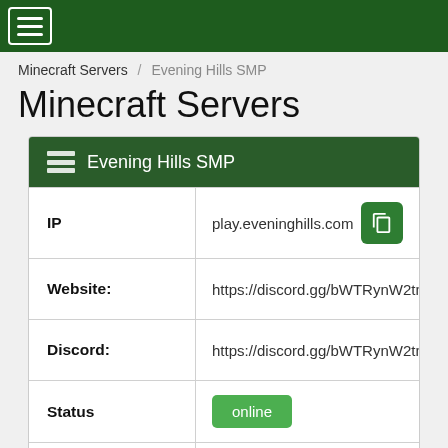≡
Minecraft Servers / Evening Hills SMP
Minecraft Servers
| Field | Value |
| --- | --- |
| IP | play.eveninghills.com |
| Website: | https://discord.gg/bWTRynW2tm |
| Discord: | https://discord.gg/bWTRynW2tm |
| Status | online |
| Players | 1 / 40 |